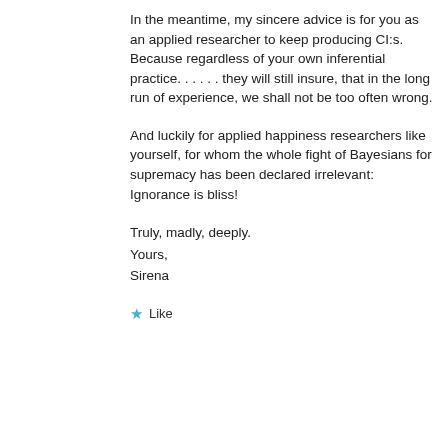In the meantime, my sincere advice is for you as an applied researcher to keep producing CI:s. Because regardless of your own inferential practice……they will still insure, that in the long run of experience, we shall not be too often wrong.
And luckily for applied happiness researchers like yourself, for whom the whole fight of Bayesians for supremacy has been declared irrelevant: Ignorance is bliss!
Truly, madly, deeply.
Yours,
Sirena
Like